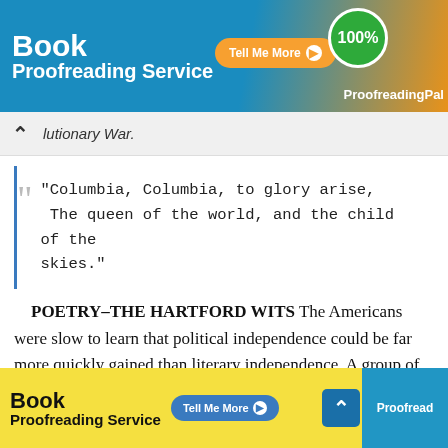[Figure (screenshot): Top advertisement banner for Book Proofreading Service with blue and orange gradient, Tell Me More button, 100% badge, and ProofreadingPal branding]
lutionary War.
"Columbia, Columbia, to glory arise,
The queen of the world, and the child of the skies."
POETRY–THE HARTFORD WITS The Americans were slow to learn that political independence could be far more quickly gained than literary independence. A group of poets, sometimes known as the Hartford Wits, determined to take the kingdom of poetry by violence. The chief of these
[Figure (screenshot): Bottom advertisement banner for Book Proofreading Service with yellow background, Tell Me More button, Proofreading blue panel, and scroll-up button]